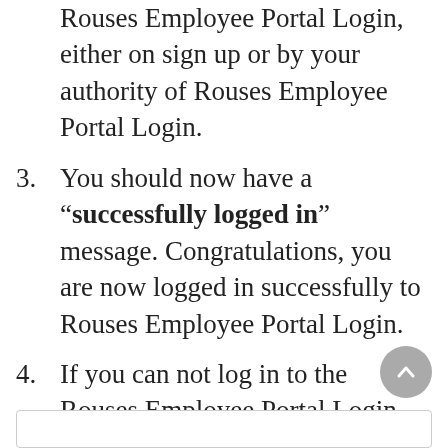Rouses Employee Portal Login, either on sign up or by your authority of Rouses Employee Portal Login.
You should now have a “successfully logged in” message. Congratulations, you are now logged in successfully to Rouses Employee Portal Login.
If you can not log in to the Rouses Employee Portal Login website, then follow our troubleshooting guide, found here.
Rouses Employee Portal Login
Visit Official Page